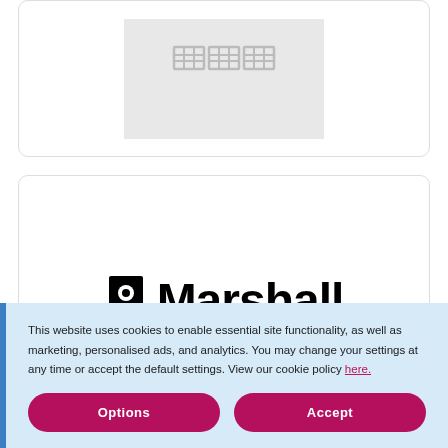[Figure (screenshot): Placeholder image with grid/table icon on light gray background inside a card with rounded border]
[Figure (logo): Marshall brand logo with speaker icon and bold Marshall wordmark in black]
This website uses cookies to enable essential site functionality, as well as marketing, personalised ads, and analytics. You may change your settings at any time or accept the default settings. View our cookie policy here.
Options
Accept